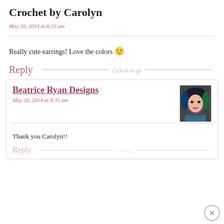Crochet by Carolyn
May 20, 2014 at 8:23 am
Really cute earrings! Love the colors 🙂
Reply
Beatrice Ryan Designs
May 20, 2014 at 9:35 am
Thank you Carolyn!!
Reply